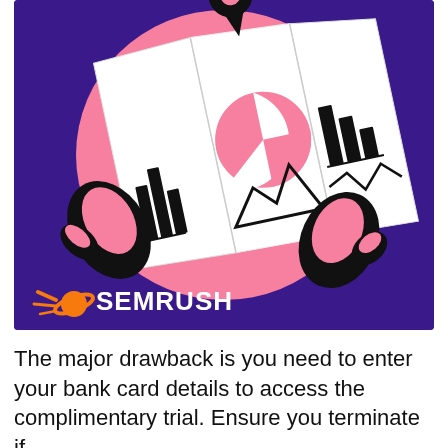[Figure (illustration): Illustration of two hands holding an unfolded map with charts (bar chart, pie chart, line chart) on it, a location pin icon at the top. The background is deep purple with a large pink blob shape behind the map. Below the illustration is the SEMrush logo (orange planet/comet icon followed by white bold text 'SEMRUSH') all on the dark purple background.]
The major drawback is you need to enter your bank card details to access the complimentary trial. Ensure you terminate if